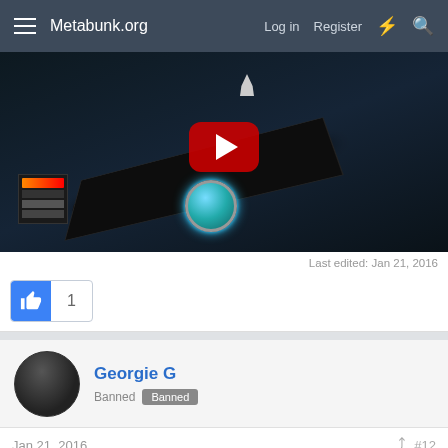Metabunk.org — Log in   Register
[Figure (screenshot): YouTube video thumbnail showing a dark 3D game-like scene with a black platform, a rocket, a glowing teal orb, and a YouTube play button overlay]
Last edited: Jan 21, 2016
[Figure (other): Like button showing a thumbs-up icon in blue with count 1]
Georgie G
Banned  Banned
Jan 21, 2016  #12
Hevach said: ↑